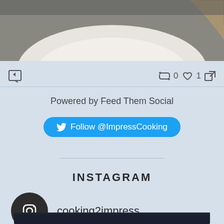[Figure (photo): Top portion of a food photo showing a white plate on a wooden/textured surface with decorative element on the right]
⟵  0  ♡ 1  ↗
Powered by Feed Them Social
Follow @ImpressCooking
INSTAGRAM
cooking2impress
[Figure (photo): Bottom portion of an Instagram food photo, dark colored image just beginning to appear at bottom of page]